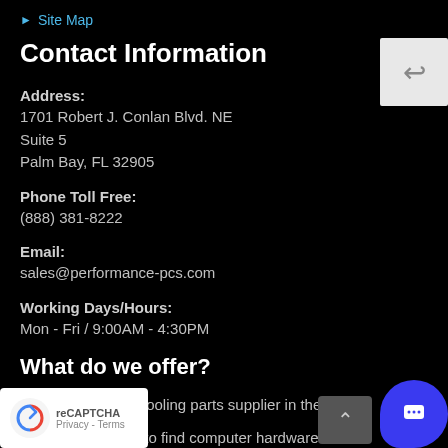▶ Site Map
Contact Information
Address:
1701 Robert J. Conlan Blvd. NE
Suite 5
Palm Bay, FL 32905
Phone Toll Free:
(888) 381-8222
Email:
sales@performance-pcs.com
Working Days/Hours:
Mon - Fri / 9:00AM - 4:30PM
What do we offer?
Largest Watercooling parts supplier in the world!
Specialty hard to find computer hardware
n sleeved power supplies and cables
ed high-end computer chassis